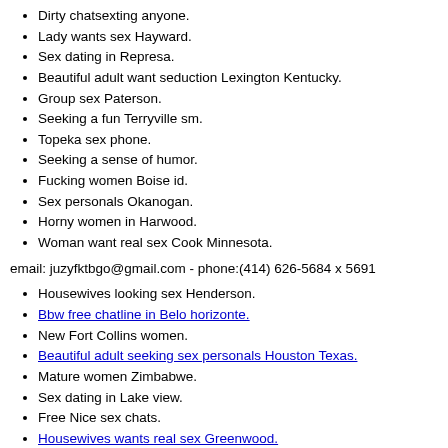Dirty chatsexting anyone.
Lady wants sex Hayward.
Sex dating in Represa.
Beautiful adult want seduction Lexington Kentucky.
Group sex Paterson.
Seeking a fun Terryville sm.
Topeka sex phone.
Seeking a sense of humor.
Fucking women Boise id.
Sex personals Okanogan.
Horny women in Harwood.
Woman want real sex Cook Minnesota.
email: juzyfktbgo@gmail.com - phone:(414) 626-5684 x 5691
Housewives looking sex Henderson.
Bbw free chatline in Belo horizonte.
New Fort Collins women.
Beautiful adult seeking sex personals Houston Texas.
Mature women Zimbabwe.
Sex dating in Lake view.
Free Nice sex chats.
Housewives wants real sex Greenwood.
Horny naked in Lancing Tennessee.
San antonio sex web cam.
Wives wants sex Dana Point.